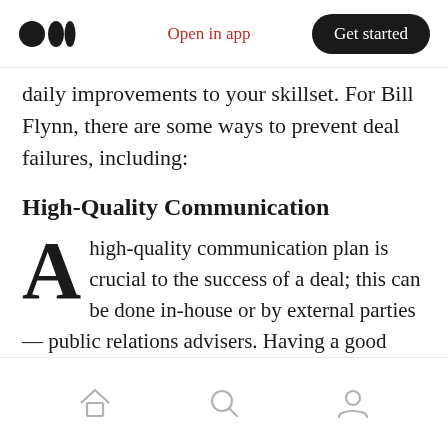Open in app  |  Get started
daily improvements to your skillset. For Bill Flynn, there are some ways to prevent deal failures, including:
High-Quality Communication
A high-quality communication plan is crucial to the success of a deal; this can be done in-house or by external parties — public relations advisers. Having a good communication plan can help build a good business relationship, negotiate effectively and increase your team's morale and efficiency.
Home  Search  Profile